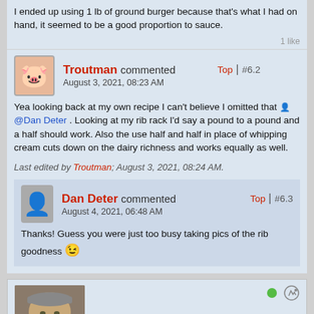I ended up using 1 lb of ground burger because that's what I had on hand, it seemed to be a good proportion to sauce.
1 like
Troutman commented — Top | #6.2 — August 3, 2021, 08:23 AM
Yea looking back at my own recipe I can't believe I omitted that @Dan Deter . Looking at my rib rack I'd say a pound to a pound and a half should work. Also the use half and half in place of whipping cream cuts down on the dairy richness and works equally as well.
Last edited by Troutman; August 3, 2021, 08:24 AM.
Dan Deter commented — Top | #6.3 — August 4, 2021, 06:48 AM
Thanks! Guess you were just too busy taking pics of the rib goodness 😉